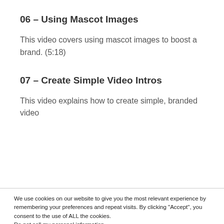06 – Using Mascot Images
This video covers using mascot images to boost a brand. (5:18)
07 – Create Simple Video Intros
This video explains how to create simple, branded video
We use cookies on our website to give you the most relevant experience by remembering your preferences and repeat visits. By clicking "Accept", you consent to the use of ALL the cookies.
Do not sell my personal information.